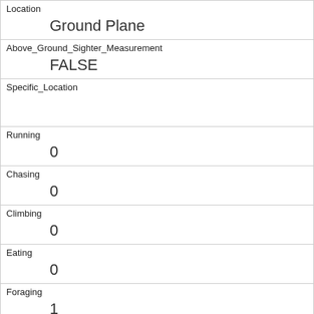| Location | Ground Plane |
| Above_Ground_Sighter_Measurement | FALSE |
| Specific_Location |  |
| Running | 0 |
| Chasing | 0 |
| Climbing | 0 |
| Eating | 0 |
| Foraging | 1 |
| Other_Activities | new movement flailing arms while foraging |
| Kuks | 0 |
| Quaas |  |